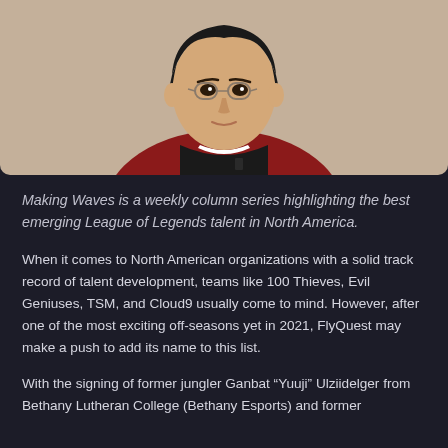[Figure (photo): Portrait photo of a young Asian man wearing glasses and a red esports jersey with black collar, photographed against a light beige background]
Making Waves is a weekly column series highlighting the best emerging League of Legends talent in North America.
When it comes to North American organizations with a solid track record of talent development, teams like 100 Thieves, Evil Geniuses, TSM, and Cloud9 usually come to mind. However, after one of the most exciting off-seasons yet in 2021, FlyQuest may make a push to add its name to this list.
With the signing of former jungler Ganbat “Yuuji” Ulziidelger from Bethany Lutheran College (Bethany Esports) and former